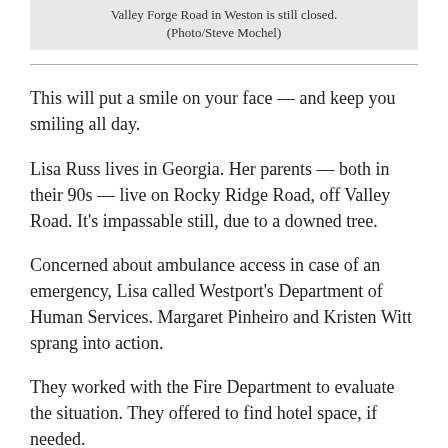Valley Forge Road in Weston is still closed. (Photo/Steve Mochel)
This will put a smile on your face — and keep you smiling all day.
Lisa Russ lives in Georgia. Her parents — both in their 90s — live on Rocky Ridge Road, off Valley Road. It's impassable still, due to a downed tree.
Concerned about ambulance access in case of an emergency, Lisa called Westport's Department of Human Services. Margaret Pinheiro and Kristen Witt sprang into action.
They worked with the Fire Department to evaluate the situation. They offered to find hotel space, if needed.